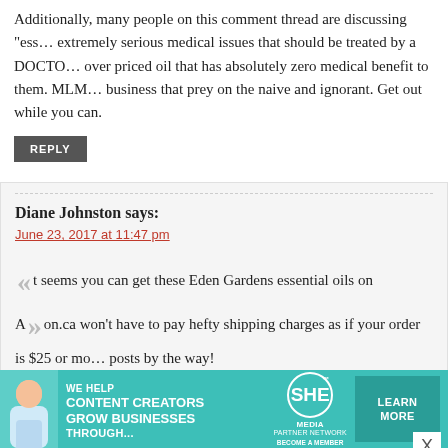Additionally, many people on this comment thread are discussing "ess… extremely serious medical issues that should be treated by a DOCTO… over priced oil that has absolutely zero medical benefit to them. MLM… business that prey on the naive and ignorant. Get out while you can.
REPLY
Diane Johnston says:
June 23, 2017 at 11:47 pm
It seems you can get these Eden Gardens essential oils on Amazon.ca… won't have to pay hefty shipping charges as if your order is $25 or mo… posts by the way!
REPLY
Andrea says:
[Figure (infographic): SHE Media Partner Network advertisement banner with teal background, showing a woman with a laptop, text 'WE HELP CONTENT CREATORS GROW BUSINESSES THROUGH...' and a LEARN MORE button]